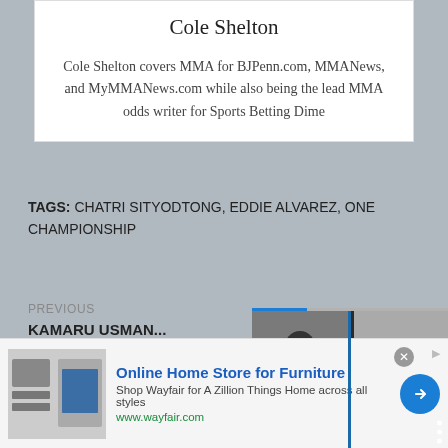Cole Shelton
Cole Shelton covers MMA for BJPenn.com, MMANews, and MyMMANews.com while also being the lead MMA odds writer for Sports Betting Dime
TAGS: CHATRI SITYODTONG, EDDIE ALVAREZ, ONE CHAMPIONSHIP
PREVIOUS
KAMARU USMAN... TITLE SHOT, BUT... IT
UFC VEGAS 24...
[Figure (photo): Split video player showing two MMA fighters training/sparring, with a blue divider, navigation dots, and a forward arrow button. Caption reads 'Facebook founder Mark']
Online Home Store for Furniture
Shop Wayfair for A Zillion Things Home across all styles
www.wayfair.com